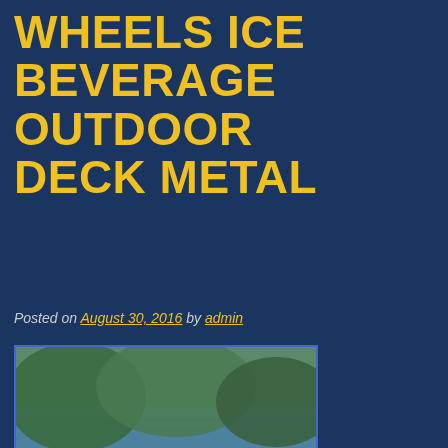WHEELS ICE BEVERAGE OUTDOOR DECK METAL
Posted on August 30, 2016 by admin
[Figure (photo): A stainless steel outdoor beverage cooler on wheels with bottles and ice inside, photographed next to a swimming pool on a stone patio. An eBay watermark appears at the bottom right.]